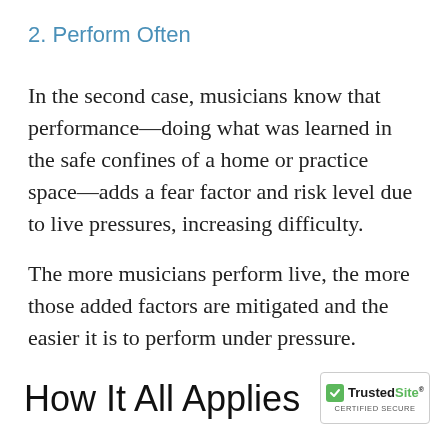2. Perform Often
In the second case, musicians know that performance—doing what was learned in the safe confines of a home or practice space—adds a fear factor and risk level due to live pressures, increasing difficulty.
The more musicians perform live, the more those added factors are mitigated and the easier it is to perform under pressure.
How It All Applies
[Figure (logo): TrustedSite Certified Secure badge with green checkmark]